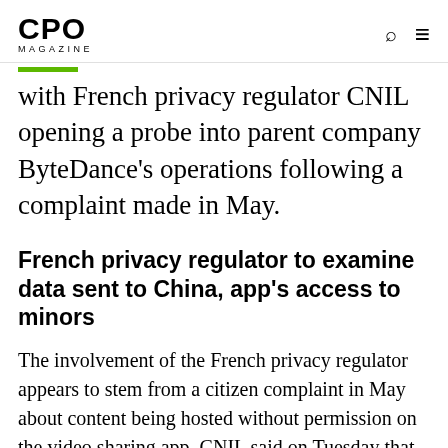CPO MAGAZINE
with French privacy regulator CNIL opening a probe into parent company ByteDance's operations following a complaint made in May.
French privacy regulator to examine data sent to China, app's access to minors
The involvement of the French privacy regulator appears to stem from a citizen complaint in May about content being hosted without permission on the video sharing app. CNIL said on Tuesday that the complaint had initially been closed for procedural reasons,